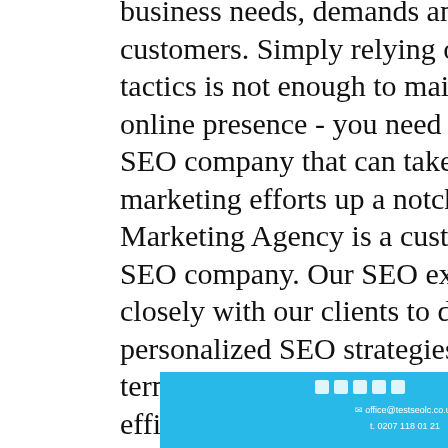business needs, demands and target customers. Simply relying on old SEO tactics is not enough to maintain a robust online presence - you need to find a reliable SEO company that can take your digital marketing efforts up a notch. Thrive Internet Marketing Agency is a customer-focused SEO company. Our SEO experts work closely with our clients to develop personalized SEO strategies that drive long-term profitability. By using a proven, efficient and effective methodology, we are able to create high-quality, measurable results. Our SEO company utilizes a methodology called Agile SEO, which allows us to build a robust campaign framework that provides value for your business.
[Figure (other): Footer banner with light blue background showing social media icons and contact details: office@testseolc.co.uk and t. 0207 118 01 21]